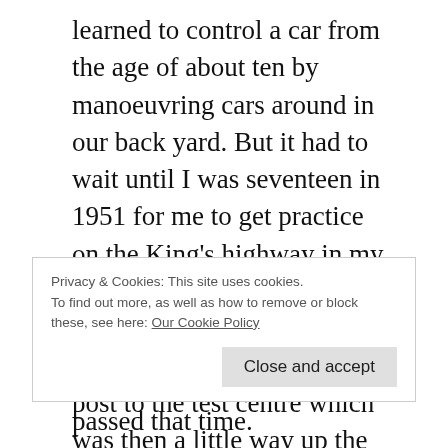learned to control a car from the age of about ten by manoeuvring cars around in our back yard. But it had to wait until I was seventeen in 1951 for me to get practice on the King's highway in my dad's 1945 Austin 12 saloon with which I became quite adept.  I had to apply in the post to the test centre which was then a little way up the New Dover Road in Canterbury and I was of course devastated when I clanged in my first test because the examiner said that I was doing 'S' turns whenever I went to
Privacy & Cookies: This site uses cookies.
To find out more, as well as how to remove or block these, see here: Our Cookie Policy
Close and accept
passed that time.